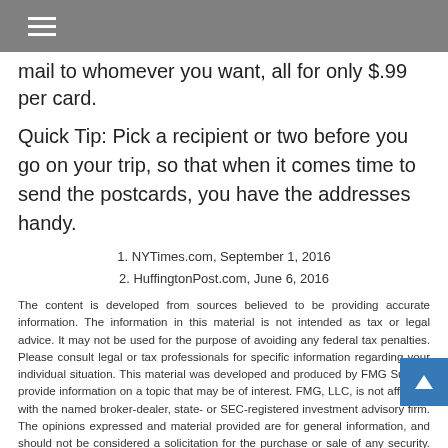[hamburger menu icon]
mail to whomever you want, all for only $.99 per card.
Quick Tip: Pick a recipient or two before you go on your trip, so that when it comes time to send the postcards, you have the addresses handy.
1. NYTimes.com, September 1, 2016
2. HuffingtonPost.com, June 6, 2016
The content is developed from sources believed to be providing accurate information. The information in this material is not intended as tax or legal advice. It may not be used for the purpose of avoiding any federal tax penalties. Please consult legal or tax professionals for specific information regarding your individual situation. This material was developed and produced by FMG Suite to provide information on a topic that may be of interest. FMG, LLC, is not affiliated with the named broker-dealer, state- or SEC-registered investment advisory firm. The opinions expressed and material provided are for general information, and should not be considered a solicitation for the purchase or sale of any security. Copyright 2022 FMG Suite.
Share |